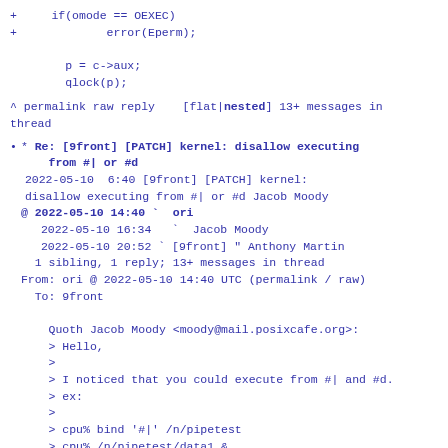+     if(omode == OEXEC)
+             error(Eperm);

        p = c->aux;
        qlock(p);
^ permalink raw reply    [flat|nested] 13+ messages in thread
* Re: [9front] [PATCH] kernel: disallow executing from #| or #d
2022-05-10 6:40 [9front] [PATCH] kernel: disallow executing from #| or #d Jacob Moody
@ 2022-05-10 14:40 ` ori
  2022-05-10 16:34   ` Jacob Moody
  2022-05-10 20:52 ` [9front] " Anthony Martin
  1 sibling, 1 reply; 13+ messages in thread
From: ori @ 2022-05-10 14:40 UTC (permalink / raw)
To: 9front

Quoth Jacob Moody <moody@mail.posixcafe.org>:
> Hello,
>
> I noticed that you could execute from #| and #d.
> ex:
>
> cpu% bind '#|' /n/pipetest
> cpu% /n/pipetest/data1 &
> cpu% echo '#!/bin/rc' >> /n/pipetest/data
> cpu% echo 'echo hello' >> /n/pipetest/data